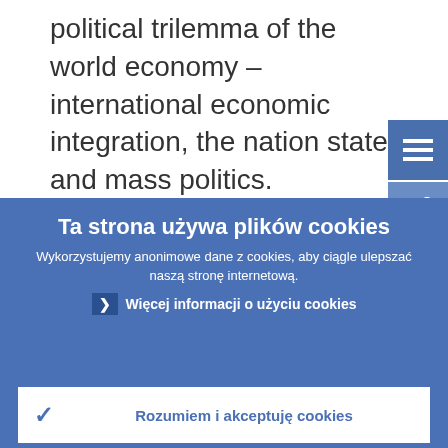political trilemma of the world economy – international economic integration, the nation state and mass politics.
Can markets become international while politics remain local?
Ta strona używa plików cookies
Wykorzystujemy anonimowe dane z cookies, aby ciągle ulepszać naszą stronę internetową.
Więcej informacji o użyciu cookies
Rozumiem i akceptuję cookies
Nie akceptuję cookies